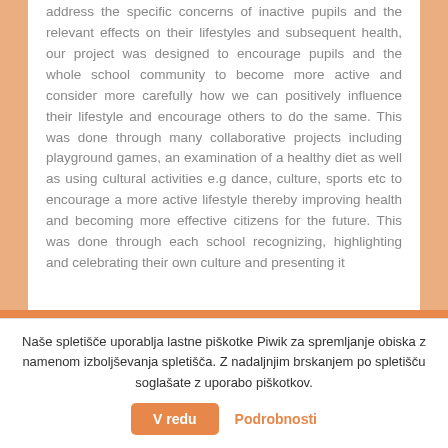address the specific concerns of inactive pupils and the relevant effects on their lifestyles and subsequent health, our project was designed to encourage pupils and the whole school community to become more active and consider more carefully how we can positively influence their lifestyle and encourage others to do the same. This was done through many collaborative projects including playground games, an examination of a healthy diet as well as using cultural activities e.g dance, culture, sports etc to encourage a more active lifestyle thereby improving health and becoming more effective citizens for the future. This was done through each school recognizing, highlighting and celebrating their own culture and presenting it
Naše spletišče uporablja lastne piškotke Piwik za spremljanje obiska z namenom izboljševanja spletišča. Z nadaljnjim brskanjem po spletišču soglašate z uporabo piškotkov.
V redu   Podrobnosti